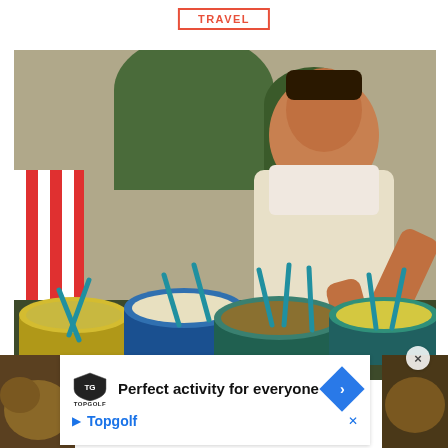TRAVEL
[Figure (photo): A woman in a white apron and t-shirt leans over multiple colorful pots filled with various Mexican street food dishes, using teal spoons to serve. Green barrels visible in background.]
[Figure (photo): Partially visible food image behind advertisement overlay]
Perfect activity for everyone Topgolf